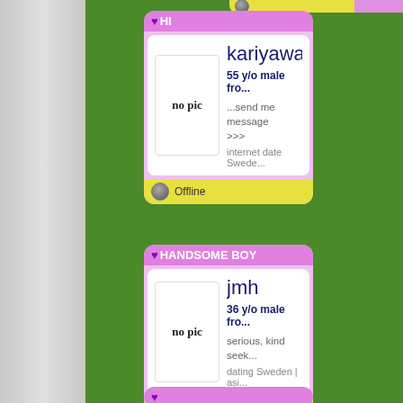[Figure (screenshot): Dating website profile listings. Two profile cards visible: 'HI' username kariyawasa, 55 y/o male, offline; 'HANDSOME BOY' username jmh, 36 y/o male, offline. Left grey sidebar and green background.]
kariyawasa
55 y/o male fro...
...send me message >>>
internet date Swede...
Offline
jmh
36 y/o male fro...
serious, kind seek...
dating Sweden | asi...
Offline